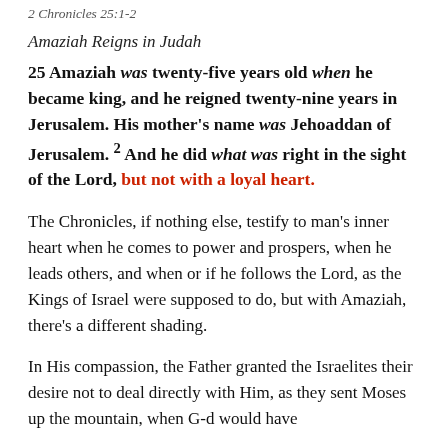2 Chronicles 25:1-2
Amaziah Reigns in Judah
25 Amaziah was twenty-five years old when he became king, and he reigned twenty-nine years in Jerusalem. His mother's name was Jehoaddan of Jerusalem. 2 And he did what was right in the sight of the Lord, but not with a loyal heart.
The Chronicles, if nothing else, testify to man's inner heart when he comes to power and prospers, when he leads others, and when or if he follows the Lord, as the Kings of Israel were supposed to do, but with Amaziah, there's a different shading.
In His compassion, the Father granted the Israelites their desire not to deal directly with Him, as they sent Moses up the mountain, when G-d would have addressed them all. It was indeed His glory. He did it to